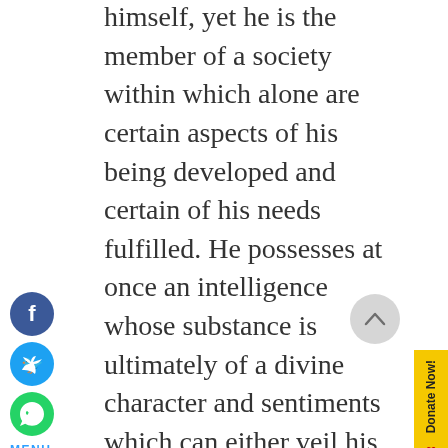himself, yet he is the member of a society within which alone are certain aspects of his being developed and certain of his needs fulfilled. He possesses at once an intelligence whose substance is ultimately of a divine character and sentiments which can either veil his intelligence or abett his quest for his own Origin. In him are found both love and hatred, generosity and coveteousness, compassion and aggression.
MENU
Moreover, there have existed until now not just one but several 'humanities' with their own religious and moral norms and national, ethnic and racial groups with their